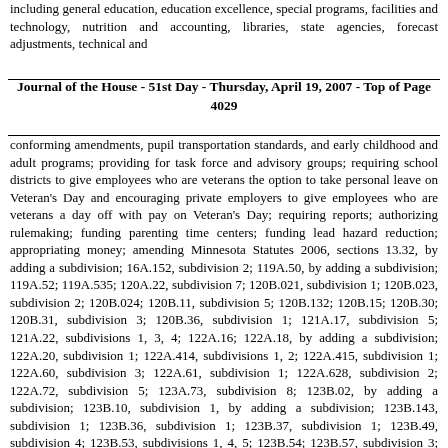including general education, education excellence, special programs, facilities and technology, nutrition and accounting, libraries, state agencies, forecast adjustments, technical and
Journal of the House - 51st Day - Thursday, April 19, 2007 - Top of Page 4029
conforming amendments, pupil transportation standards, and early childhood and adult programs; providing for task force and advisory groups; requiring school districts to give employees who are veterans the option to take personal leave on Veteran's Day and encouraging private employers to give employees who are veterans a day off with pay on Veteran's Day; requiring reports; authorizing rulemaking; funding parenting time centers; funding lead hazard reduction; appropriating money; amending Minnesota Statutes 2006, sections 13.32, by adding a subdivision; 16A.152, subdivision 2; 119A.50, by adding a subdivision; 119A.52; 119A.535; 120A.22, subdivision 7; 120B.021, subdivision 1; 120B.023, subdivision 2; 120B.024; 120B.11, subdivision 5; 120B.132; 120B.15; 120B.30; 120B.31, subdivision 3; 120B.36, subdivision 1; 121A.17, subdivision 5; 121A.22, subdivisions 1, 3, 4; 122A.16; 122A.18, by adding a subdivision; 122A.20, subdivision 1; 122A.414, subdivisions 1, 2; 122A.415, subdivision 1; 122A.60, subdivision 3; 122A.61, subdivision 1; 122A.628, subdivision 2; 122A.72, subdivision 5; 123A.73, subdivision 8; 123B.02, by adding a subdivision; 123B.10, subdivision 1, by adding a subdivision; 123B.143, subdivision 1; 123B.36, subdivision 1; 123B.37, subdivision 1; 123B.49, subdivision 4; 123B.53, subdivisions 1, 4, 5; 123B.54; 123B.57, subdivision 3; 123B.63, subdivision 3; 123B.77, subdivision 4; 123B.79, subdivisions 6, 8, by adding a subdivision; 123B.81, subdivisions 2, 4, 7; 123B.83, subdivision 2; 123B.88, subdivision 12; 123B.90, subdivision 2; 123B.92, subdivisions 1, 3, 5; 124D.095, subdivisions 2, 3, 4, 7; 124D.10,